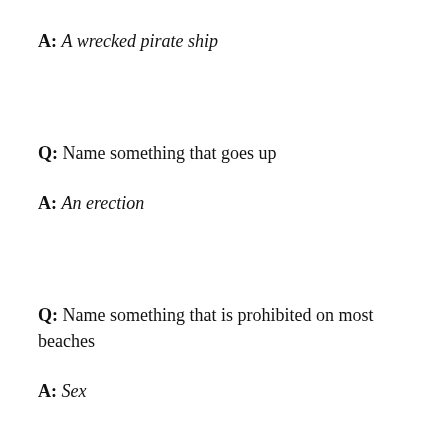A: A wrecked pirate ship
Q: Name something that goes up
A: An erection
Q: Name something that is prohibited on most beaches
A: Sex